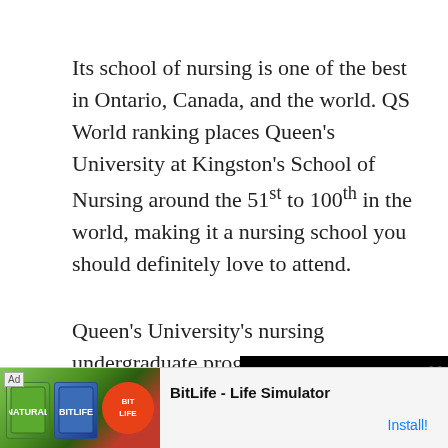Its school of nursing is one of the best in Ontario, Canada, and the world. QS World ranking places Queen's University at Kingston's School of Nursing around the 51st to 100th in the world, making it a nursing school you should definitely love to attend.
Queen's University's nursing undergraduate programs include the Bachelor of Nursing Science (BNSc) and BNSc-Ac...
On the other hand, it's... Ph.D. in Nursing, Mas... of Nursing (MN(PHC... NP C...
[Figure (screenshot): Media error overlay with black background showing text: 'The media could not be loaded, either because the server or network failed or because the' with an X close button and large X mark]
[Figure (screenshot): Ad banner at bottom: Ad label, game app images (green and blue book covers, red circle BitLife logo), text 'BitLife - Life Simulator' with Install button]